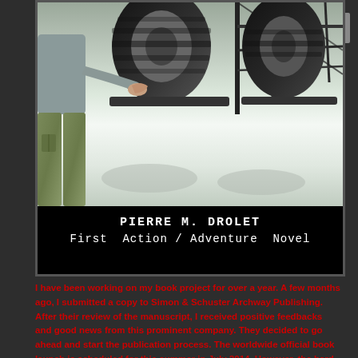[Figure (illustration): Book cover for Pierre M. Drolet's First Action/Adventure Novel. Shows a person in military-style green pants standing near large vehicle tires on a reflective surface. Dark black banner at bottom with white futuristic text showing author name and genre.]
I have been working on my book project for over a year. A few months ago, I submitted a copy to Simon & Schuster Archway Publishing. After their review of the manuscript, I received positive feedbacks and good news from this prominent company. They decided to go ahead and start the publication process. The worldwide official book launch is scheduled for this summer in July 2014. However, the hard copy and it's ebook